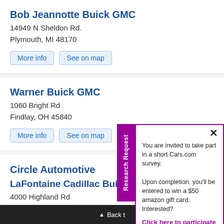Bob Jeannotte Buick GMC
14949 N Sheldon Rd.
Plymouth, MI 48170
More info
See on map
Warner Buick GMC
1060 Bright Rd
Findlay, OH 45840
More info
See on map
Circle Automotive
1300 US 41
Schererville, IN 46375
More info
See on map
You are invited to take part in a short Cars.com survey.

Upon completion, you'll be entered to win a $50 amazon gift card. Interested?
Click here to participate
LaFontaine Cadillac Buick G
4000 Highland Rd
▲ Back t...